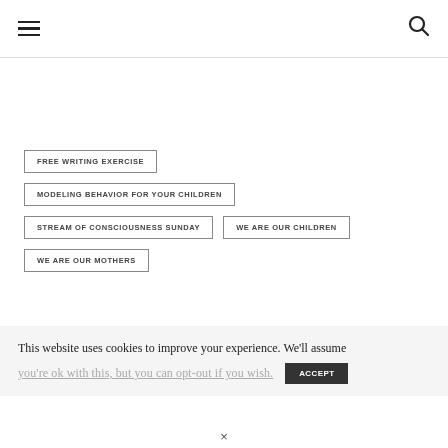☰ [hamburger] | [search icon]
FREE WRITING EXERCISE
MODELING BEHAVIOR FOR YOUR CHILDREN
STREAM OF CONSCIOUSNESS SUNDAY
WE ARE OUR CHILDREN
WE ARE OUR MOTHERS
This website uses cookies to improve your experience. We'll assume
×